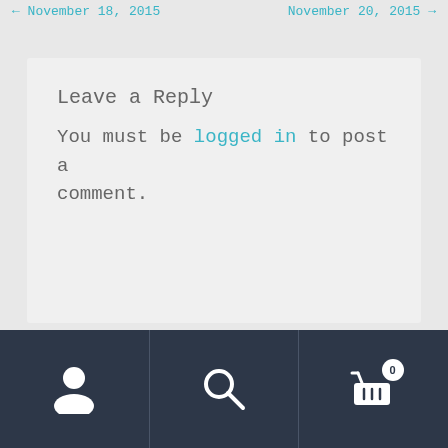← November 18, 2015    November 20, 2015 →
Leave a Reply
You must be logged in to post a comment.
[Figure (screenshot): Bottom navigation bar with user icon, search icon, and shopping cart icon with badge showing 0]